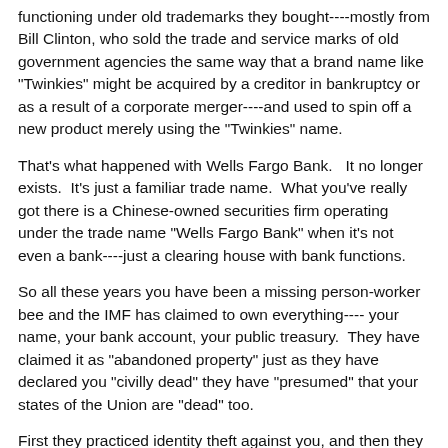functioning under old trademarks they bought----mostly from Bill Clinton, who sold the trade and service marks of old government agencies the same way that a brand name like "Twinkies" might be acquired by a creditor in bankruptcy or as a result of a corporate merger----and used to spin off a new product merely using the "Twinkies" name.
That's what happened with Wells Fargo Bank.   It no longer exists.  It's just a familiar trade name.  What you've really got there is a Chinese-owned securities firm operating under the trade name "Wells Fargo Bank" when it's not even a bank----just a clearing house with bank functions.
So all these years you have been a missing person-worker bee and the IMF has claimed to own everything---- your name, your bank account, your public treasury.  They have claimed it as "abandoned property" just as they have declared you "civilly dead" they have "presumed" that your states of the Union are "dead" too.
First they practiced identity theft against you, and then they practiced credit fraud against you.  They claimed to "borrow" the assets they stole and then benefit from...